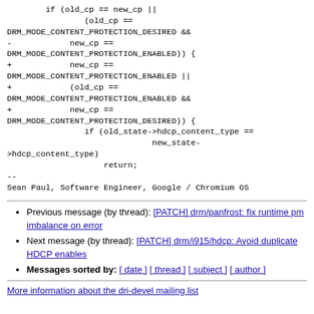if (old_cp == new_cp ||
        (old_cp ==
DRM_MODE_CONTENT_PROTECTION_DESIRED &&
-            new_cp ==
DRM_MODE_CONTENT_PROTECTION_ENABLED)) {
+            new_cp ==
DRM_MODE_CONTENT_PROTECTION_ENABLED ||
+            (old_cp ==
DRM_MODE_CONTENT_PROTECTION_ENABLED &&
+            new_cp ==
DRM_MODE_CONTENT_PROTECTION_DESIRED)) {
                if (old_state->hdcp_content_type ==
                              new_state->hdcp_content_type)
                    return;
--
Sean Paul, Software Engineer, Google / Chromium OS
Previous message (by thread): [PATCH] drm/panfrost: fix runtime pm imbalance on error
Next message (by thread): [PATCH] drm/i915/hdcp: Avoid duplicate HDCP enables
Messages sorted by: [ date ] [ thread ] [ subject ] [ author ]
More information about the dri-devel mailing list